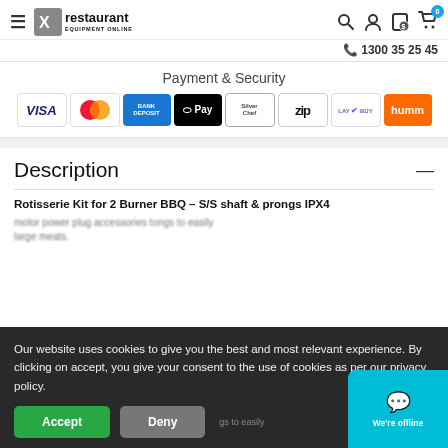Restaurant Equipment Online — 1300 35 25 45
Payment & Security
[Figure (other): Payment method icons: VISA, Mastercard, Bank Deposit, O Pay, Silver Chef, ZIP, LAYBUY, humm]
Description
Rotisserie Kit for 2 Burner BBQ – S/S shaft & prongs IPX4
Our website uses cookies to give you the best and most relevant experience. By clicking on accept, you give your consent to the use of cookies as per our privacy policy.
Accept | Deny
We're offline